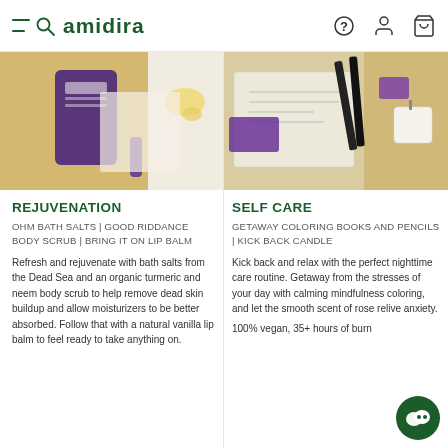amidira
[Figure (photo): Product flatlay showing bath salts container and lip balm on tan/beige background]
[Figure (photo): Product flatlay showing coloring books, pencils, and candle on tan background]
REJUVENATION
SELF CARE
OHM BATH SALTS | GOOD RIDDANCE BODY SCRUB | BRING IT ON LIP BALM
GETAWAY COLORING BOOKS AND PENCILS | KICK BACK CANDLE
Refresh and rejuvenate with bath salts from the Dead Sea and an organic turmeric and neem body scrub to help remove dead skin buildup and allow moisturizers to be better absorbed. Follow that with a natural vanilla lip balm to feel ready to take anything on.
Kick back and relax with the perfect nighttime care routine. Getaway from the stresses of your day with calming mindfulness coloring, and let the smooth scent of rose relive anxiety.

100% vegan, 35+ hours of burn